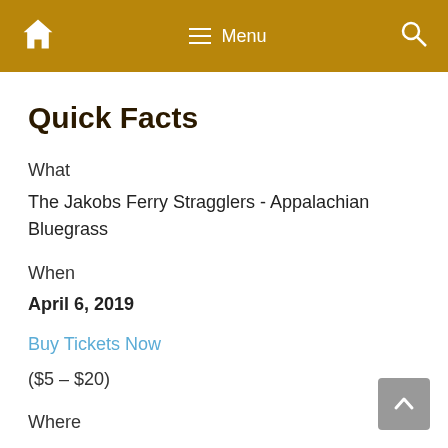Home | Menu | Search
Quick Facts
What
The Jakobs Ferry Stragglers - Appalachian Bluegrass
When
April 6, 2019
Buy Tickets Now
($5 – $20)
Where